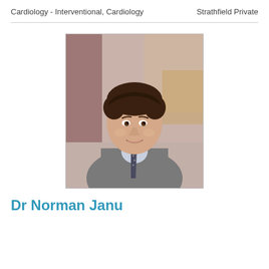Cardiology - Interventional, Cardiology   Strathfield Private
[Figure (photo): Professional headshot of Dr. Norman Janu, a man in a grey suit with a tie, smiling, seated in an indoor setting]
Dr Norman Janu